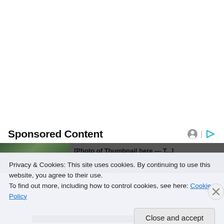Sponsored Content
[Figure (photo): Thumbnail image with dark green/forest background, partially visible]
Privacy & Cookies: This site uses cookies. By continuing to use this website, you agree to their use.
To find out more, including how to control cookies, see here: Cookie Policy
Close and accept